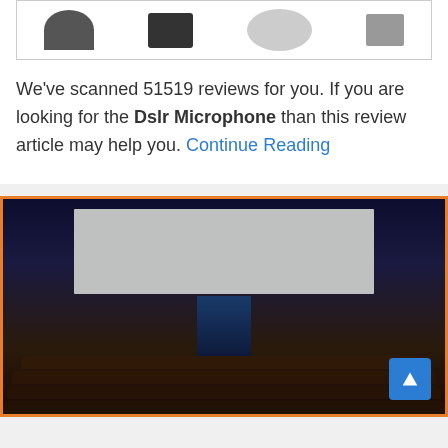[Figure (photo): Product images of DSLR microphone accessories including microphone, bag, and mount adapter]
We've scanned 51519 reviews for you. If you are looking for the Dslr Microphone than this review article may help you. Continue Reading
[Figure (photo): Cinema auditorium interior with audience seated and looking at a large blank screen, viewed from behind]